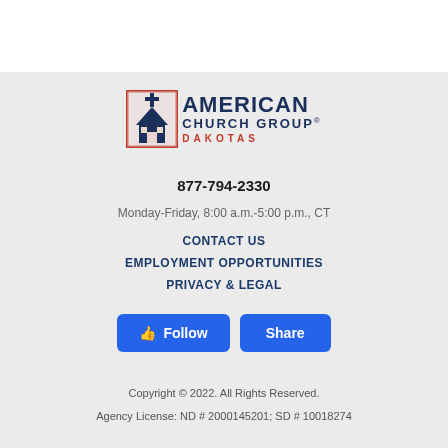[Figure (logo): American Church Group Dakotas logo with church building icon in red and blue border]
877-794-2330
Monday-Friday, 8:00 a.m.-5:00 p.m., CT
CONTACT US
EMPLOYMENT OPPORTUNITIES
PRIVACY & LEGAL
[Figure (other): Follow and Share buttons for Facebook]
Copyright © 2022. All Rights Reserved. Agency License: ND # 2000145201; SD # 10018274